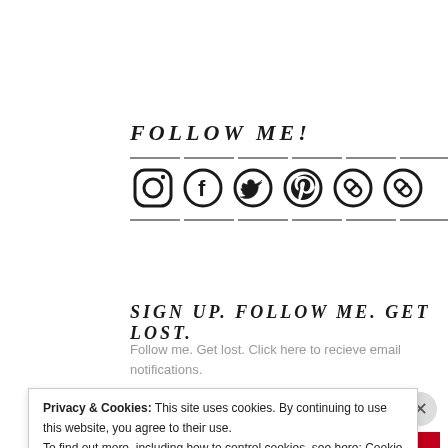FOLLOW ME!
[Figure (illustration): Row of 6 social media icons: Instagram, Facebook, Twitter, Pinterest, and two chain/link icons, separated by horizontal lines above and below]
SIGN UP. FOLLOW ME. GET LOST.
Follow me. Get lost. Click here to recieve email notifications.
Privacy & Cookies: This site uses cookies. By continuing to use this website, you agree to their use.
To find out more, including how to control cookies, see here: Cookie Policy
Close and accept